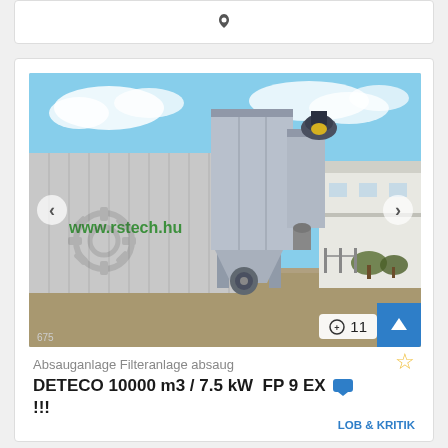[Figure (photo): Industrial dust extraction filter unit (Absauganlage/Filteranlage) by DETECO, model 10000 m3 / 7.5 kW FP 9 EX, photographed outdoors in front of a corrugated metal building with 'www.rstech.hu' signage. The machine is a tall rectangular metal cabinet on legs with a hopper base. A machine catalog/dealer website screenshot with image counter showing 11 photos.]
Absauganlage Filteranlage absaug
DETECO 10000 m3 / 7.5 kW  FP 9 EX !!!
LOB & KRITIK